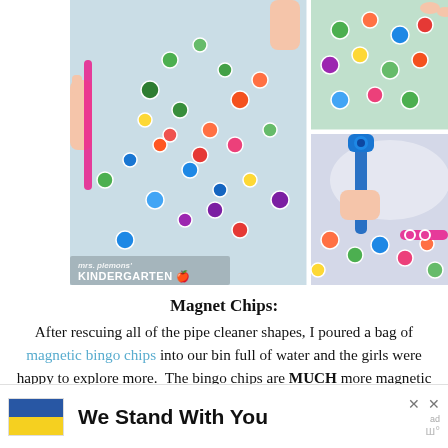[Figure (photo): A collage of three photos showing children playing with magnetic bingo chips and pipe cleaners in a bin of water and ice. Left large photo shows colorful dot chips scattered in a clear bin, with a child holding a pink magnetic wand. Top right shows colorful dots floating in water. Bottom right shows a child using a blue magnetic wand/tool to pick up chips from a foamy bin, with pink and orange chips visible.]
Magnet Chips:
After rescuing all of the pipe cleaner shapes, I poured a bag of magnetic bingo chips into our bin full of water and the girls were happy to explore more.  The bingo chips are MUCH more magnetic than the pipe cleaners so it was fun to experiment with how many we could pick up at one time, and
[Figure (infographic): Advertisement banner at the bottom of the page. Features a Ukrainian flag (blue and yellow), bold text 'We Stand With You', and two X close buttons with a wordmark logo.]